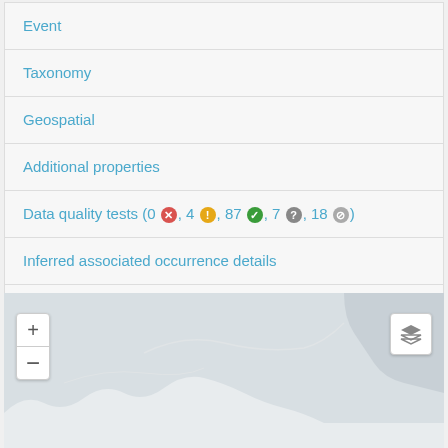Event
Taxonomy
Geospatial
Additional properties
Data quality tests (0 ✗, 4 !, 87 ✓, 7 ?, 18 ⊘)
Inferred associated occurrence details
Additional political boundaries information
Environmental sampling for this location
[Figure (map): Interactive map showing a geographic region with zoom controls (+/-) on the left and a layer toggle button on the right. The map shows land masses in light gray and water in a slightly darker gray-blue.]